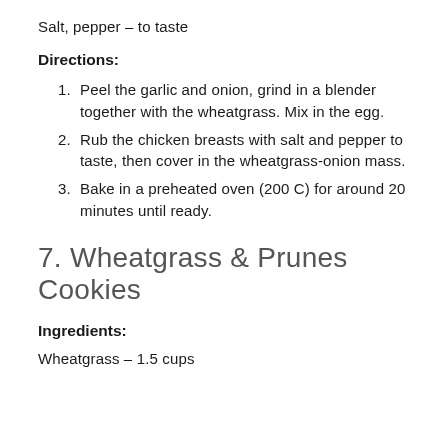Salt, pepper – to taste
Directions:
Peel the garlic and onion, grind in a blender together with the wheatgrass. Mix in the egg.
Rub the chicken breasts with salt and pepper to taste, then cover in the wheatgrass-onion mass.
Bake in a preheated oven (200 C) for around 20 minutes until ready.
7. Wheatgrass & Prunes Cookies
Ingredients:
Wheatgrass – 1.5 cups